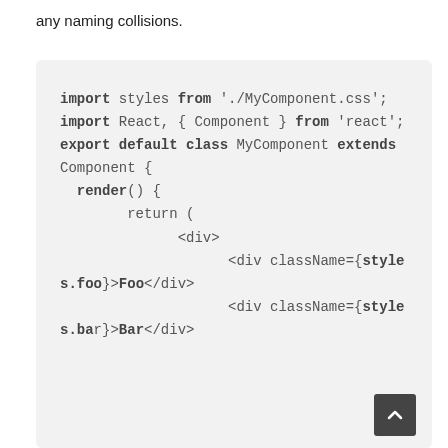any naming collisions.
[Figure (screenshot): A code block on a light gray background showing JavaScript/React code: import styles from './MyComponent.css'; import React, { Component } from 'react'; export default class MyComponent extends Component { render() { return ( <div> <div className={styles.foo}>Foo</div> <div className={styles.bar}>Bar</div>]